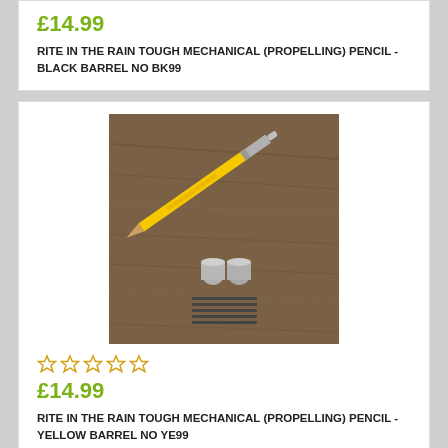£14.99
RITE IN THE RAIN TOUGH MECHANICAL (PROPELLING) PENCIL - BLACK BARREL NO BK99
[Figure (photo): Yellow mechanical pencil (Rite in the Rain) lying diagonally on a wooden surface, with two metal pencil tips and several graphite leads arranged below it.]
☆☆☆☆☆
£14.99
RITE IN THE RAIN TOUGH MECHANICAL (PROPELLING) PENCIL - YELLOW BARREL NO YE99